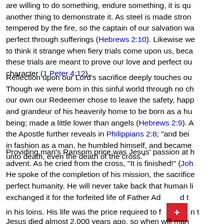are willing to do something, endure something, it is quite another thing to demonstrate it. As steel is made stronger, tempered by the fire, so the captain of our salvation was made perfect through sufferings (Hebrews 2:10). Likewise we are not to think it strange when fiery trials come upon us, because these trials are meant to prove our love and perfect our character (1 Peter 4:12).
Reflection upon our Lord's sacrifice deeply touches our hearts. Though we were born in this sinful world through no choice of our own our Redeemer chose to leave the safety, happiness and grandeur of his heavenly home to be born as a human being; made a little lower than angels (Hebrews 2:9). As the Apostle further reveals in Philippians 2:8; "and being found in fashion as a man, he humbled himself, and became obedient unto death, even the death of the cross."
Providing man's Ransom price was Jesus' passion at his first advent. As he cried from the cross, "It is finished!" (John 19:30) He spoke of the completion of his mission, the sacrifice of his perfect humanity. He will never take back that human life but exchanged it for the forfeited life of Father Adam and those in his loins. His life was the price required to free man from the prison of sin and death.
Jesus died almost 2,000 years ago, so when will man